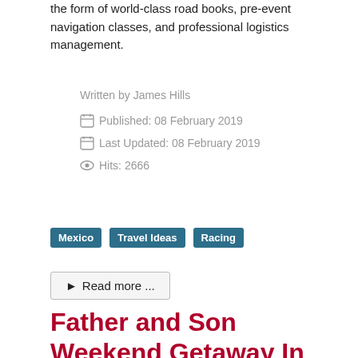the form of world-class road books, pre-event navigation classes, and professional logistics management.
Written by James Hills
Published: 08 February 2019
Last Updated: 08 February 2019
Hits: 2666
Mexico
Travel Ideas
Racing
Read more ...
Father and Son Weekend Getaway In San Pedro California